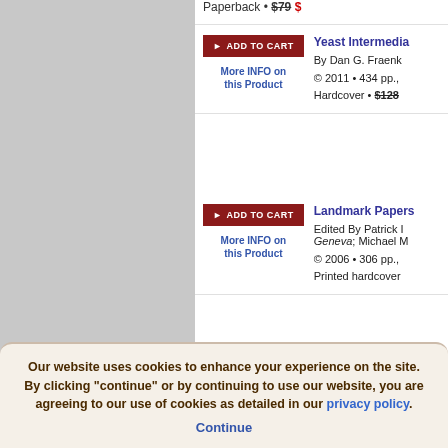Paperback • $79
[Figure (other): Add to Cart button (dark red) and More INFO on this Product link for Yeast Intermedia product]
Yeast Intermedia
By Dan G. Fraenk
© 2011 • 434 pp., Hardcover • $128
[Figure (other): Add to Cart button (dark red) and More INFO on this Product link for Landmark Papers product]
Landmark Papers
Edited By Patrick I, Geneva; Michael M
© 2006 • 306 pp., Printed hardcover
Our website uses cookies to enhance your experience on the site. By clicking "continue" or by continuing to use our website, you are agreeing to our use of cookies as detailed in our privacy policy. Continue